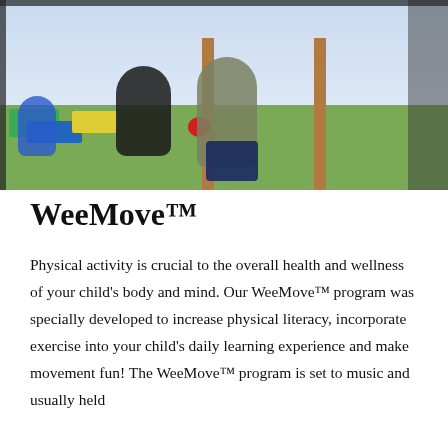[Figure (photo): Outdoor playground scene with adults and children. A woman in a black jacket kneels near colorful foam blocks (green, blue, yellow) while a person in camouflage clothing stands nearby. A child in a blue shirt is visible on the left. The background shows playground equipment with wooden posts and a fence.]
WeeMove™
Physical activity is crucial to the overall health and wellness of your child's body and mind. Our WeeMove™ program was specially developed to increase physical literacy, incorporate exercise into your child's daily learning experience and make movement fun! The WeeMove™ program is set to music and usually held